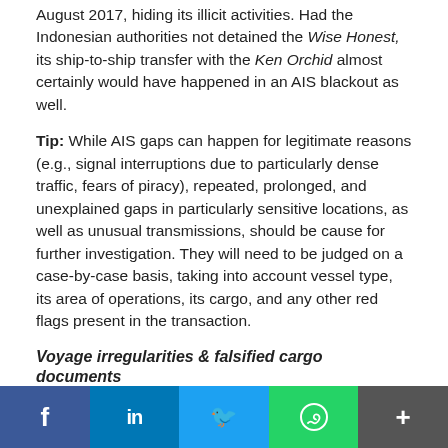August 2017, hiding its illicit activities. Had the Indonesian authorities not detained the Wise Honest, its ship-to-ship transfer with the Ken Orchid almost certainly would have happened in an AIS blackout as well.
Tip: While AIS gaps can happen for legitimate reasons (e.g., signal interruptions due to particularly dense traffic, fears of piracy), repeated, prolonged, and unexplained gaps in particularly sensitive locations, as well as unusual transmissions, should be cause for further investigation. They will need to be judged on a case-by-case basis, taking into account vessel type, its area of operations, its cargo, and any other red flags present in the transaction.
Voyage irregularities & falsified cargo documents
The Wise Honest's route through Indonesia was meant to obscure the cargo's origin; cargo documents prepared for the Ken Orchid listed Balikpapan, Indonesia, as the coal's port of loading. The certificate of origin for the coal found